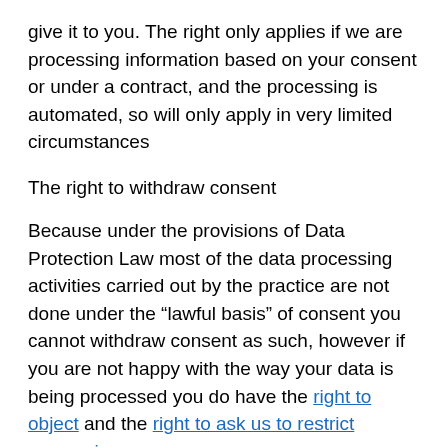give it to you. The right only applies if we are processing information based on your consent or under a contract, and the processing is automated, so will only apply in very limited circumstances
The right to withdraw consent
Because under the provisions of Data Protection Law most of the data processing activities carried out by the practice are not done under the “lawful basis” of consent you cannot withdraw consent as such, however if you are not happy with the way your data is being processed you do have the right to object and the right to ask us to restrict processing.
There is a new national opt-out that allows people to opt out of their confidential patient information being used for certain reasons other